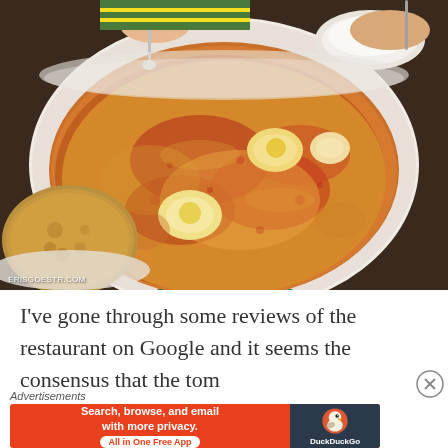[Figure (photo): Overhead photo of a large white bowl filled with reddish-orange tom yum or laksa soup containing eggs and other ingredients, with flatbread visible on the left side, placed on a dark table. Watermark reads ERISGOESTR.COM]
I've gone through some reviews of the restaurant on Google and it seems the consensus that the tom
Advertisements
[Figure (screenshot): DuckDuckGo advertisement banner: orange background with text 'Search, browse, and email with more privacy. All in One Free App' with DuckDuckGo duck logo on dark right panel]